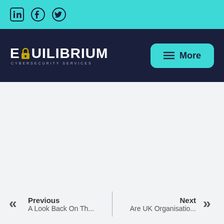Social media icons: LinkedIn, Facebook, Twitter
[Figure (logo): Equilibrium Cybersecurity Services logo with padlock icon on dark navy background, with More menu button]
Previous: A Look Back On Th... | Next: Are UK Organisatio...